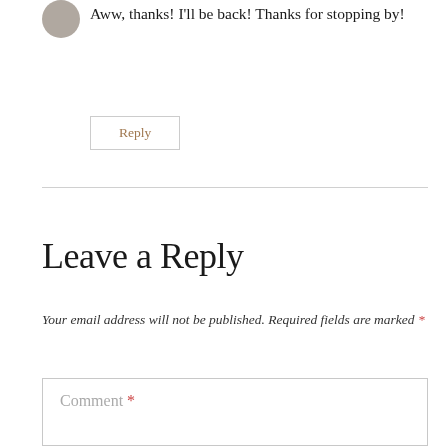[Figure (photo): Small circular avatar image partially visible at top left]
Aww, thanks! I'll be back! Thanks for stopping by!
Reply
Leave a Reply
Your email address will not be published. Required fields are marked *
Comment *